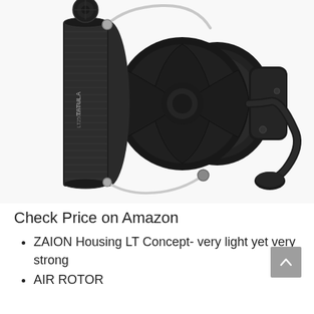[Figure (photo): A black Daiwa Tatula LT 2500D-XH spinning fishing reel shown on a white background, displaying the spool with line, bail arm, rotor, and handle.]
Check Price on Amazon
ZAION Housing LT Concept- very light yet very strong
AIR ROTOR